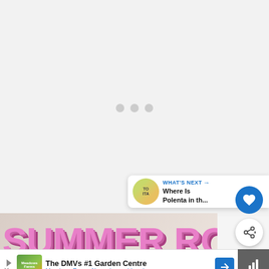[Figure (screenshot): Loading state with three grey dots centered on a light grey background]
[Figure (screenshot): What's Next banner showing 'Where Is Polenta in th...' with thumbnail]
[Figure (photo): Summer Rolls text banner in pink letters on food/marble background]
[Figure (screenshot): Advertisement bar: The DMVs #1 Garden Centre - Meadows Farms Nurseries and Landsca...]